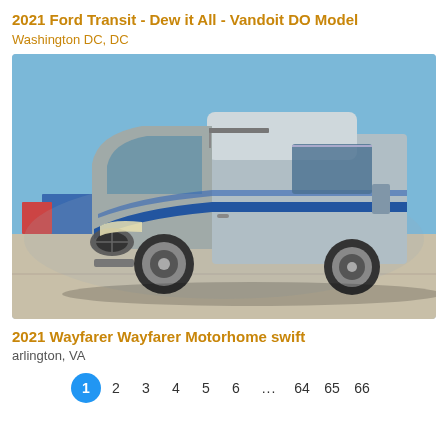2021 Ford Transit - Dew it All - Vandoit DO Model
Washington DC, DC
[Figure (photo): A silver 2021 RV motorhome (Vandoit DO Model on Ford Transit chassis) parked in a lot under blue sky. The vehicle has a raised roof section, blue accent stripes, and a Mercedes-style front grille.]
2021 Wayfarer Wayfarer Motorhome swift
arlington, VA
1  2  3  4  5  6  ...  64  65  66